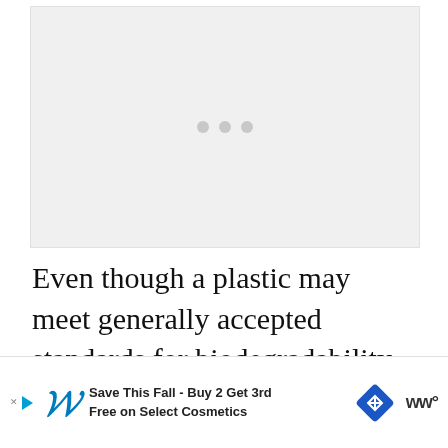[Figure (other): A placeholder image area shown as a light gray rectangle with three gray dots centered, indicating a loading or missing image state.]
Even though a plastic may meet generally accepted standards for biodegradability, it doesn't mean you can just throw it into your home composting bin. Even
[Figure (other): Advertisement banner for Walgreens: 'Save This Fall - Buy 2 Get 3rd Free on Select Cosmetics' with Walgreens cursive logo, navigation arrow icon, and Walmart spark logo.]